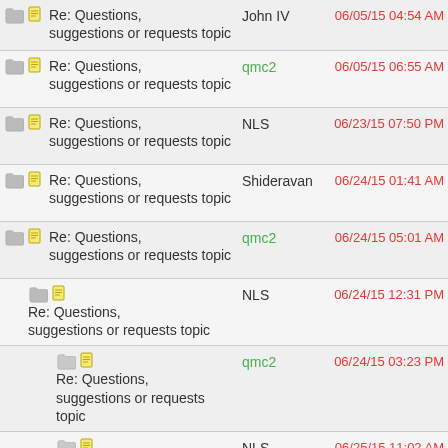Re: Questions, suggestions or requests topic | John IV | 06/05/15 04:54 AM
Re: Questions, suggestions or requests topic | qmc2 | 06/05/15 06:55 AM
Re: Questions, suggestions or requests topic | NLS | 06/23/15 07:50 PM
Re: Questions, suggestions or requests topic | Shideravan | 06/24/15 01:41 AM
Re: Questions, suggestions or requests topic | qmc2 | 06/24/15 05:01 AM
Re: Questions, suggestions or requests topic | NLS | 06/24/15 12:31 PM
Re: Questions, suggestions or requests topic | qmc2 | 06/24/15 03:23 PM
Re: Questions, suggestions or requests topic | NLS | 06/25/15 11:02 AM
Re: Questions, suggestions or requests topic | Shideravan | 06/24/15 10:14 PM